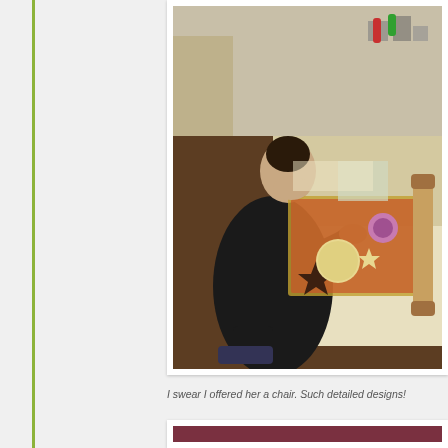[Figure (photo): A person wearing a black outfit crouching/kneeling on the floor while decorating Christmas cookies on a baking sheet. The baking sheet is on a table covered with baking supplies including cookie cutters, rolling pins, and dough. Cookie shapes include stars and flowers.]
I swear I offered her a chair.  Such detailed designs!
[Figure (photo): Partial view of a second photo with a dark red/maroon background, only partially visible at the bottom of the page.]